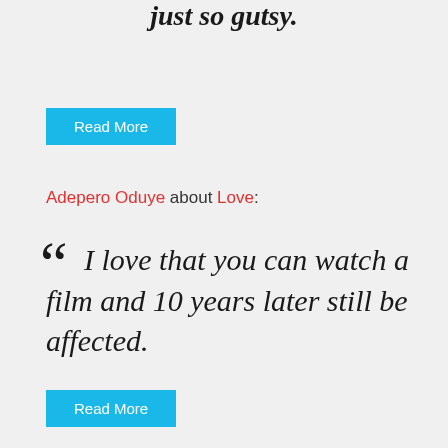just so gutsy.
Read More
Adepero Oduye about Love:
“I love that you can watch a film and 10 years later still be affected.
Read More